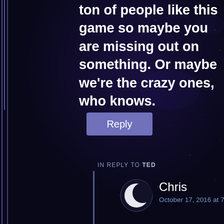ton of people like this game so maybe you are missing out on something. Or maybe we're the crazy ones, who knows.
Reply
IN REPLY TO TED
[Figure (illustration): Crescent moon avatar icon — white crescent against dark circle background]
Chris
October 17, 2016 at 7:06 am
Nail on the head, Ted.
IN REPLY TO TED